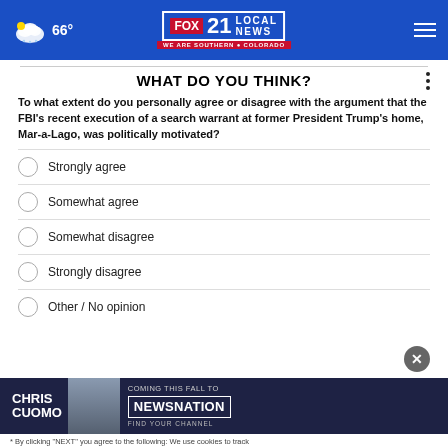66° FOX 21 LOCAL NEWS WE ARE SOUTHERN COLORADO
WHAT DO YOU THINK?
To what extent do you personally agree or disagree with the argument that the FBI's recent execution of a search warrant at former President Trump's home, Mar-a-Lago, was politically motivated?
Strongly agree
Somewhat agree
Somewhat disagree
Strongly disagree
Other / No opinion
[Figure (screenshot): Chris Cuomo Coming This Fall to NewsNation advertisement banner]
* By clicking "NEXT" you agree to the following: We use cookies to track